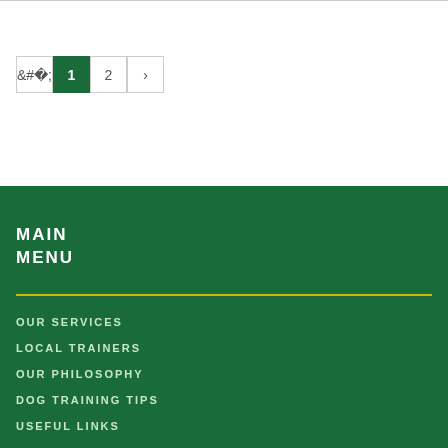‹ 1 2 ›
MAIN MENU
OUR SERVICES
LOCAL TRAINERS
OUR PHILOSOPHY
DOG TRAINING TIPS
USEFUL LINKS
ABOUT US